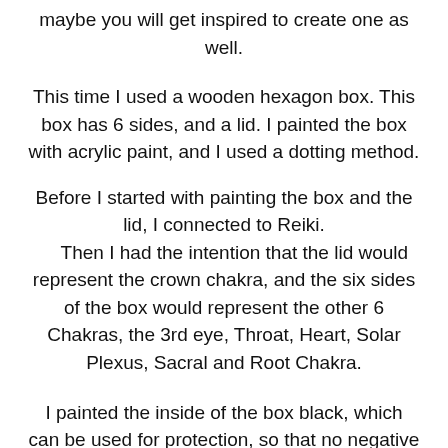maybe you will get inspired to create one as well.
This time I used a wooden hexagon box. This box has 6 sides, and a lid. I painted the box with acrylic paint, and I used a dotting method.
Before I started with painting the box and the lid, I connected to Reiki.
    Then I had the intention that the lid would represent the crown chakra, and the six sides of the box would represent the other 6 Chakras, the 3rd eye, Throat, Heart, Solar Plexus, Sacral and Root Chakra.
I painted the inside of the box black, which can be used for protection, so that no negative energy can be attracted. It is said that uninvited entities